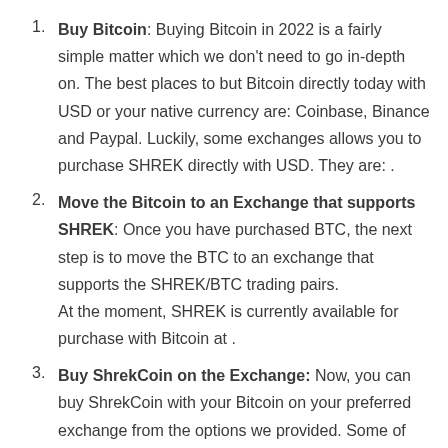Buy Bitcoin: Buying Bitcoin in 2022 is a fairly simple matter which we don't need to go in-depth on. The best places to but Bitcoin directly today with USD or your native currency are: Coinbase, Binance and Paypal. Luckily, some exchanges allows you to purchase SHREK directly with USD. They are: .
Move the Bitcoin to an Exchange that supports SHREK: Once you have purchased BTC, the next step is to move the BTC to an exchange that supports the SHREK/BTC trading pairs. At the moment, SHREK is currently available for purchase with Bitcoin at .
Buy ShrekCoin on the Exchange: Now, you can buy ShrekCoin with your Bitcoin on your preferred exchange from the options we provided. Some of